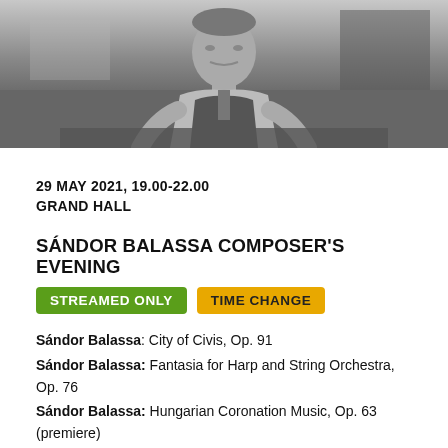[Figure (photo): Black and white photograph of a man (Sándor Balassa) seated, wearing a vest over a plaid shirt]
29 MAY 2021, 19.00-22.00
GRAND HALL
SÁNDOR BALASSA COMPOSER'S EVENING
STREAMED ONLY   TIME CHANGE
Sándor Balassa: City of Civis, Op. 91
Sándor Balassa: Fantasia for Harp and String Orchestra, Op. 76
Sándor Balassa: Hungarian Coronation Music, Op. 63 (premiere)
intermission